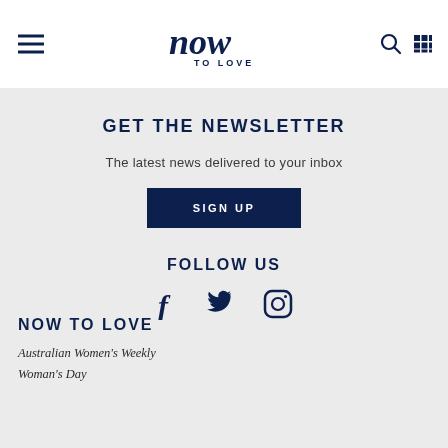[Figure (logo): Now To Love logo in dark navy blue]
GET THE NEWSLETTER
The latest news delivered to your inbox
SIGN UP
FOLLOW US
[Figure (infographic): Social media icons: Facebook, Twitter, Instagram]
NOW TO LOVE
Australian Women's Weekly
Woman's Day